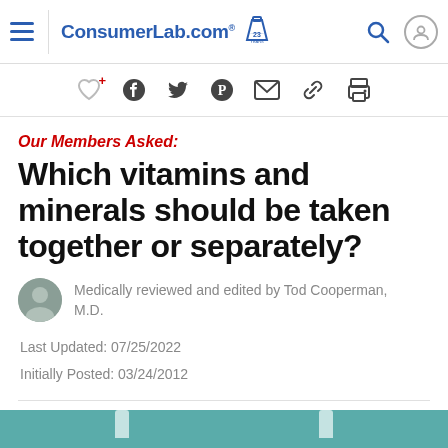ConsumerLab.com
Social sharing icons: favorite, Facebook, Twitter, Pinterest, email, link, print
Our Members Asked:
Which vitamins and minerals should be taken together or separately?
Medically reviewed and edited by Tod Cooperman, M.D.
Last Updated: 07/25/2022
Initially Posted: 03/24/2012